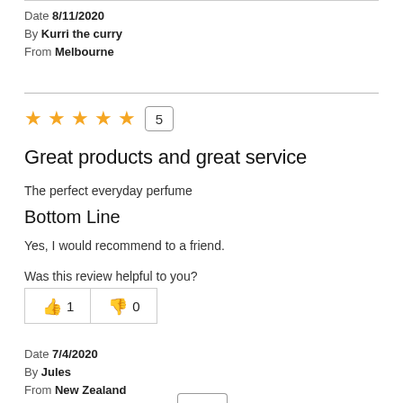Date 8/11/2020
By Kurri the curry
From Melbourne
[Figure (other): Five gold stars rating with number 5 in a box]
Great products and great service
The perfect everyday perfume
Bottom Line
Yes, I would recommend to a friend.
Was this review helpful to you?
[Figure (other): Thumbs up button with count 1, thumbs down button with count 0]
Date 7/4/2020
By Jules
From New Zealand